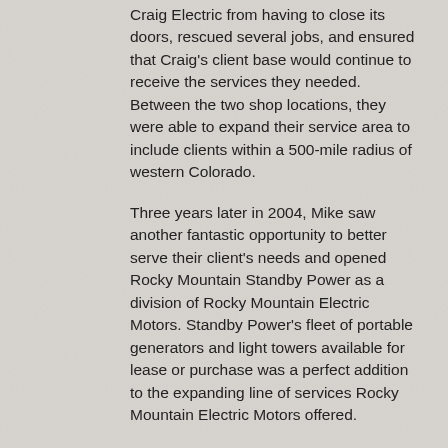Craig Electric from having to close its doors, rescued several jobs, and ensured that Craig's client base would continue to receive the services they needed. Between the two shop locations, they were able to expand their service area to include clients within a 500-mile radius of western Colorado.
Three years later in 2004, Mike saw another fantastic opportunity to better serve their client's needs and opened Rocky Mountain Standby Power as a division of Rocky Mountain Electric Motors. Standby Power's fleet of portable generators and light towers available for lease or purchase was a perfect addition to the expanding line of services Rocky Mountain Electric Motors offered.
Mike and his team have always been deeply committed to advancing their community through philanthropy, and have generously supported dozens of organizations since opening their doors in 1997. Below are a few of the recipients of